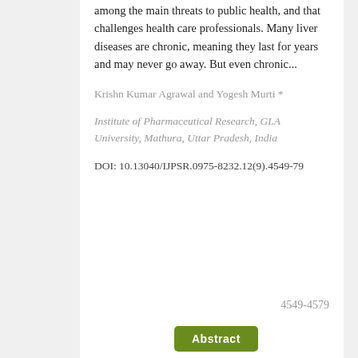among the main threats to public health, and that challenges health care professionals. Many liver diseases are chronic, meaning they last for years and may never go away. But even chronic...
Krishn Kumar Agrawal and Yogesh Murti *
Institute of Pharmaceutical Research, GLA University, Mathura, Uttar Pradesh, India
DOI: 10.13040/IJPSR.0975-8232.12(9).4549-79
4549-4579
Abstract